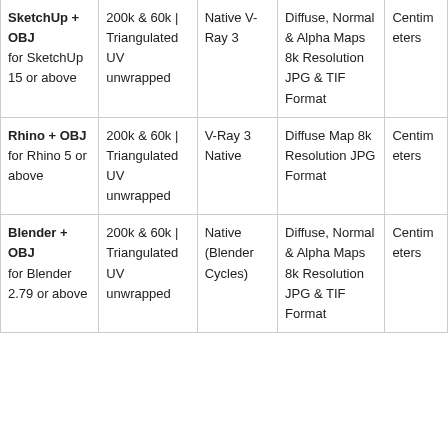| Format | Geometry | Renderer | Textures | Units |
| --- | --- | --- | --- | --- |
| SketchUp + OBJ
for SketchUp 15 or above | 200k & 60k | Triangulated UV unwrapped | Native V-Ray 3 | Diffuse, Normal & Alpha Maps 8k Resolution JPG & TIF Format | Centimeters |
| Rhino + OBJ
for Rhino 5 or above | 200k & 60k | Triangulated UV unwrapped | V-Ray 3 Native | Diffuse Map 8k Resolution JPG Format | Centimeters |
| Blender + OBJ
for Blender 2.79 or above | 200k & 60k | Triangulated UV unwrapped | Native (Blender Cycles) | Diffuse, Normal & Alpha Maps 8k Resolution JPG & TIF Format | Centimeters |